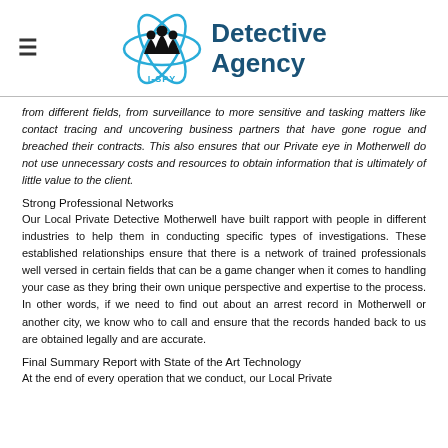I-SPY Detective Agency
from different fields, from surveillance to more sensitive and tasking matters like contact tracing and uncovering business partners that have gone rogue and breached their contracts. This also ensures that our Private eye in Motherwell do not use unnecessary costs and resources to obtain information that is ultimately of little value to the client.
Strong Professional Networks
Our Local Private Detective Motherwell have built rapport with people in different industries to help them in conducting specific types of investigations. These established relationships ensure that there is a network of trained professionals well versed in certain fields that can be a game changer when it comes to handling your case as they bring their own unique perspective and expertise to the process. In other words, if we need to find out about an arrest record in Motherwell or another city, we know who to call and ensure that the records handed back to us are obtained legally and are accurate.
Final Summary Report with State of the Art Technology
At the end of every operation that we conduct, our Local Private